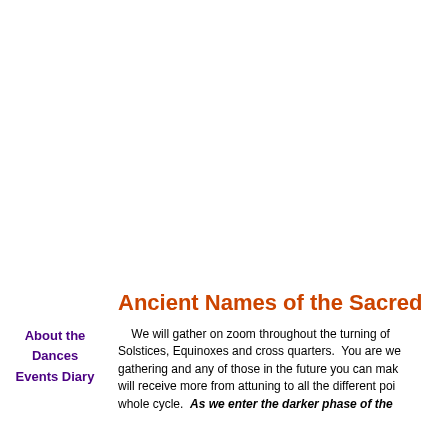Ancient Names of the Sacred
We will gather on zoom throughout the turning of the Solstices, Equinoxes and cross quarters.  You are we gathering and any of those in the future you can mak will receive more from attuning to all the different poi whole cycle.  As we enter the darker phase of the
About the Dances
Events Diary